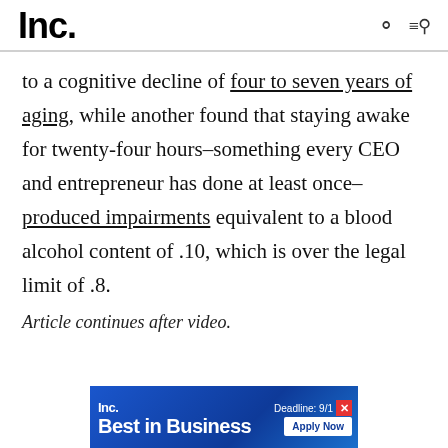Inc.
to a cognitive decline of four to seven years of aging, while another found that staying awake for twenty-four hours–something every CEO and entrepreneur has done at least once–produced impairments equivalent to a blood alcohol content of .10, which is over the legal limit of .8.
Article continues after video.
[Figure (infographic): Inc. Best in Business advertisement banner with blue gradient background, showing 'Inc.' logo, 'Deadline: 9/1' text with red close button, 'Best in Business' in large white bold text, and 'Apply Now' button in white]